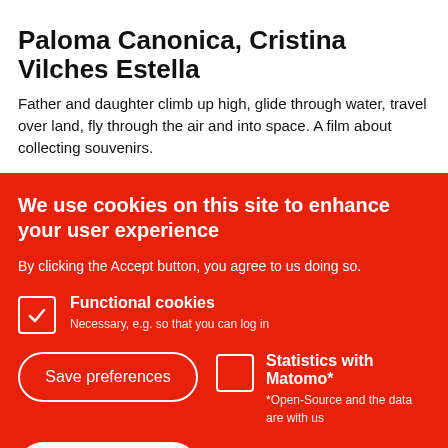Paloma Canonica, Cristina Vilches Estella
Father and daughter climb up high, glide through water, travel over land, fly through the air and into space. A film about collecting souvenirs.
We use cookies on this site to enhance your user experience
By clicking the Accept button, you agree to us doing so.
Functional cookies — Necessary, e.g. so that you can log in
Statistics with Matomo* — *Open-Source and the data are with us
Save preferences
Accept all cookies